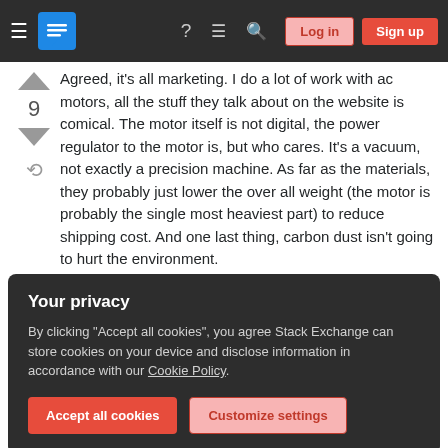Stack Exchange navigation bar with Log in and Sign up buttons
Agreed, it's all marketing. I do a lot of work with ac motors, all the stuff they talk about on the website is comical. The motor itself is not digital, the power regulator to the motor is, but who cares. It's a vacuum, not exactly a precision machine. As far as the materials, they probably just lower the over all weight (the motor is probably the single most heaviest part) to reduce shipping cost. And one last thing, carbon dust isn't going to hurt the environment.
Your privacy
By clicking "Accept all cookies", you agree Stack Exchange can store cookies on your device and disclose information in accordance with our Cookie Policy.